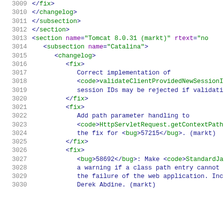3009    </fix>
3010    </changelog>
3011    </subsection>
3012    </section>
3013    <section name="Tomcat 8.0.31 (markt)" rtext="no
3014      <subsection name="Catalina">
3015        <changelog>
3016          <fix>
3017            Correct implementation of
3018            <code>validateClientProvidedNewSessionI
3019            session IDs may be rejected if validati
3020          </fix>
3021          <fix>
3022            Add path parameter handling to
3023            <code>HttpServletRequest.getContextPath
3024            the fix for <bug>57215</bug>. (markt)
3025          </fix>
3026          <fix>
3027            <bug>58692</bug>: Make <code>StandardJa
3028            a warning if a class path entry cannot
3029            the failure of the web application. Inc
3030            Derek Abdine. (markt)